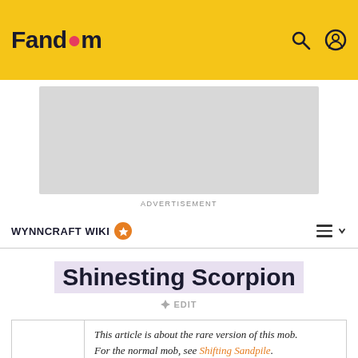Fandom
[Figure (screenshot): Advertisement placeholder (grey box)]
ADVERTISEMENT
WYNNCRAFT WIKI
Shinesting Scorpion
EDIT
This article is about the rare version of this mob. For the normal mob, see Shifting Sandpile.